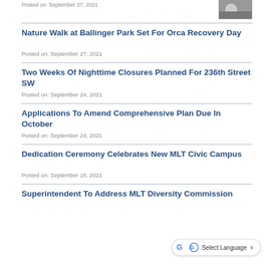Posted on: September 27, 2021
Nature Walk at Ballinger Park Set For Orca Recovery Day
Posted on: September 27, 2021
Two Weeks Of Nighttime Closures Planned For 236th Street SW
Posted on: September 24, 2021
Applications To Amend Comprehensive Plan Due In October
Posted on: September 24, 2021
Dedication Ceremony Celebrates New MLT Civic Campus
Posted on: September 18, 2021
Superintendent To Address MLT Diversity Commission